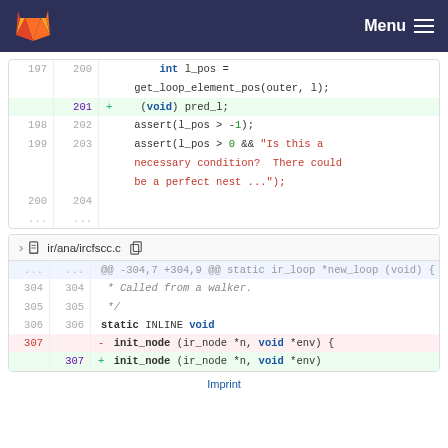GitLab — Menu
[Figure (screenshot): Code diff panel showing lines 197-204 with an added line 201: (void) pred_l; and assert statements]
[Figure (screenshot): Code diff panel for ir/ana/ircfscc.c showing lines 304-307 with static INLINE void init_node changes]
Imprint